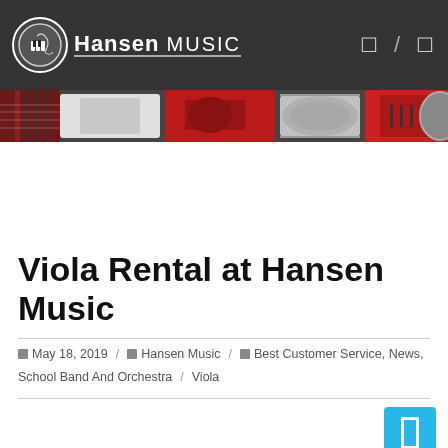[Figure (logo): Hansen Music logo with piano icon in circular border and text 'Hansen MUSIC' with underline, on dark gray navigation bar]
[Figure (photo): Hero banner strip showing musical instruments including guitars and drums in red, black and silver colors]
Viola Rental at Hansen Music
May 18, 2019  /  Hansen Music  /  Best Customer Service, News, School Band And Orchestra  /  Viola